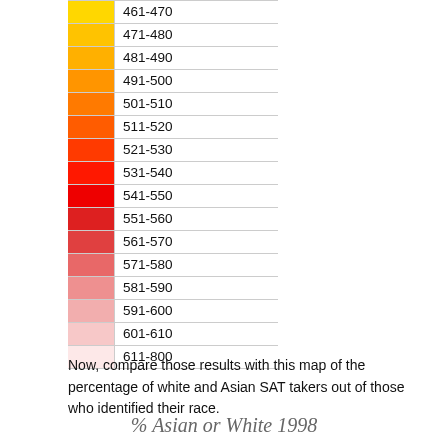[Figure (other): Color legend showing SAT score ranges from 461-470 (yellow) through 611-800 (white/light pink), with color gradient from yellow to orange to red to pink to white]
Now, compare those results with this map of the percentage of white and Asian SAT takers out of those who identified their race.
[Figure (map): Partial map titled '% Asian or White 1998' showing US states with pink/light coloring, only top portion visible]